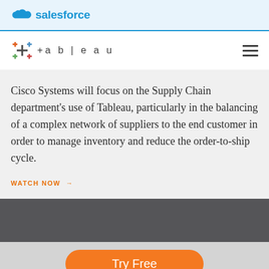salesforce
[Figure (logo): Tableau logo with colorful plus-sign icon and spaced-out text '+a b | e a u']
Cisco Systems will focus on the Supply Chain department's use of Tableau, particularly in the balancing of a complex network of suppliers to the end customer in order to manage inventory and reduce the order-to-ship cycle.
WATCH NOW →
[Figure (other): Dark grey banner section]
[Figure (other): Try Free orange button on light grey background]